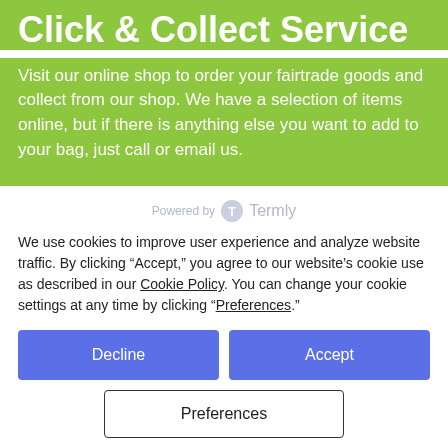Click & Collect Service
Visit our online shop to order your fairtrade goods and collect from our shop. We have a selection of items online, but if there is anything else you want to add to your bag, just call or email us.
[Figure (logo): Powered by Termly logo with circular icon and text]
We use cookies to improve user experience and analyze website traffic. By clicking “Accept,” you agree to our website’s cookie use as described in our Cookie Policy. You can change your cookie settings at any time by clicking “Preferences.”